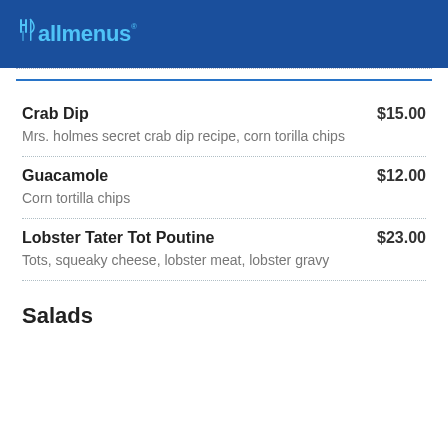allmenus
Crab Dip $15.00
Mrs. holmes secret crab dip recipe, corn torilla chips
Guacamole $12.00
Corn tortilla chips
Lobster Tater Tot Poutine $23.00
Tots, squeaky cheese, lobster meat, lobster gravy
Salads